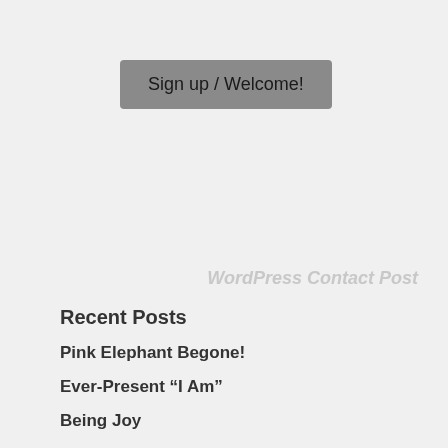Sign up / Welcome!
WordPress Contact Post
Recent Posts
Pink Elephant Begone!
Ever-Present “I Am”
Being Joy
Oh, Jubilant Heart
“Spiritual High Rollers”
Theo McFacts